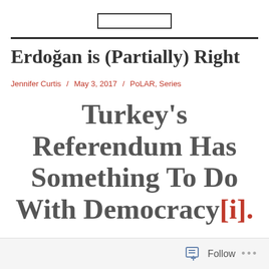Erdoğan is (Partially) Right
Jennifer Curtis / May 3, 2017 / PoLAR, Series
Turkey's Referendum Has Something To Do With Democracy[i].